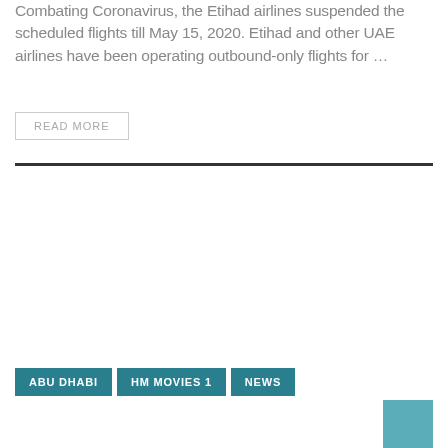Combating Coronavirus, the Etihad airlines suspended the scheduled flights till May 15, 2020. Etihad and other UAE airlines have been operating outbound-only flights for …
READ MORE
ABU DHABI
HM MOVIES 1
NEWS
[Figure (other): Teal decorative box in bottom-right corner]